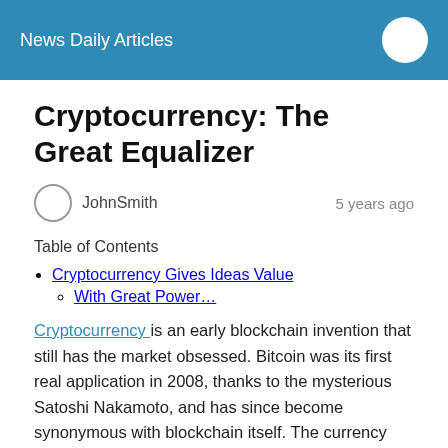News Daily Articles
Cryptocurrency: The Great Equalizer
JohnSmith   5 years ago
Table of Contents
Cryptocurrency Gives Ideas Value
With Great Power…
Cryptocurrency is an early blockchain invention that still has the market obsessed. Bitcoin was its first real application in 2008, thanks to the mysterious Satoshi Nakamoto, and has since become synonymous with blockchain itself. The currency has gained over 500% in value this year alone, but despite its steady